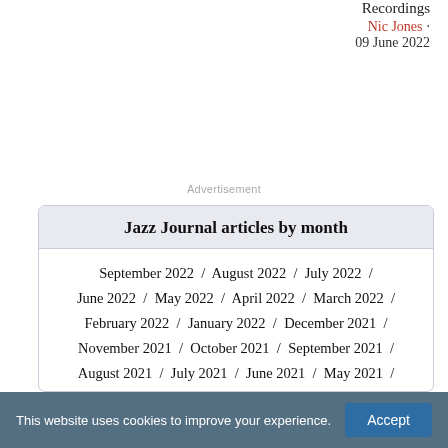Recordings
Nic Jones · 09 June 2022
Advertisement
Jazz Journal articles by month
September 2022 / August 2022 / July 2022 / June 2022 / May 2022 / April 2022 / March 2022 / February 2022 / January 2022 / December 2021 / November 2021 / October 2021 / September 2021 / August 2021 / July 2021 / June 2021 / May 2021 / April 2021 / March 2021 / February 2021 / January 2021 / December 2020 / November 2020 / October 2020 / September 2020 / August 2020 /
This website uses cookies to improve your experience.